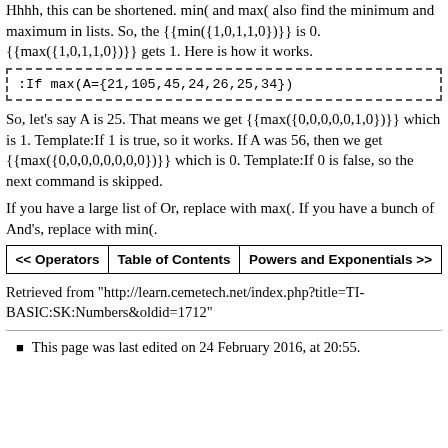Hhhh, this can be shortened. min( and max( also find the minimum and maximum in lists. So, the {{min({1,0,1,1,0})}} is 0. {{max({1,0,1,1,0})}} gets 1. Here is how it works.
So, let's say A is 25. That means we get {{max({0,0,0,0,0,1,0})}} which is 1. Template:If 1 is true, so it works. If A was 56, then we get {{max({0,0,0,0,0,0,0,0})}} which is 0. Template:If 0 is false, so the next command is skipped.
If you have a large list of Or, replace with max(. If you have a bunch of And's, replace with min(.
| << Operators | Table of Contents | Powers and Exponentials >> |
| --- | --- | --- |
Retrieved from "http://learn.cemetech.net/index.php?title=TI-BASIC:SK:Numbers&oldid=1712"
This page was last edited on 24 February 2016, at 20:55.